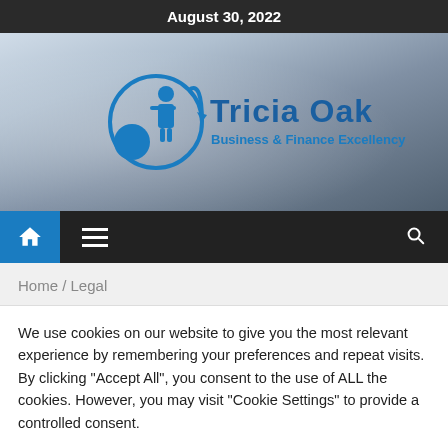August 30, 2022
[Figure (screenshot): Hero banner with Tricia Oak Business & Finance Excellency logo overlaid on a photo of businesspeople at a table with tablets and pens. Blue figure icon and circular arrow graphic with text logo.]
[Figure (screenshot): Navigation bar with blue home icon button, hamburger menu icon, and search icon on dark background.]
Home /  Legal
We use cookies on our website to give you the most relevant experience by remembering your preferences and repeat visits. By clicking "Accept All", you consent to the use of ALL the cookies. However, you may visit "Cookie Settings" to provide a controlled consent.